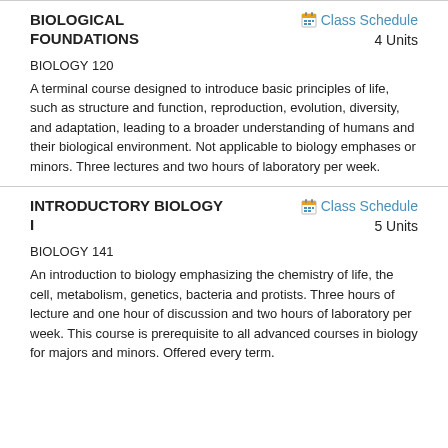BIOLOGICAL FOUNDATIONS
Class Schedule 4 Units
BIOLOGY 120
A terminal course designed to introduce basic principles of life, such as structure and function, reproduction, evolution, diversity, and adaptation, leading to a broader understanding of humans and their biological environment. Not applicable to biology emphases or minors. Three lectures and two hours of laboratory per week.
INTRODUCTORY BIOLOGY I
Class Schedule 5 Units
BIOLOGY 141
An introduction to biology emphasizing the chemistry of life, the cell, metabolism, genetics, bacteria and protists. Three hours of lecture and one hour of discussion and two hours of laboratory per week. This course is prerequisite to all advanced courses in biology for majors and minors. Offered every term.